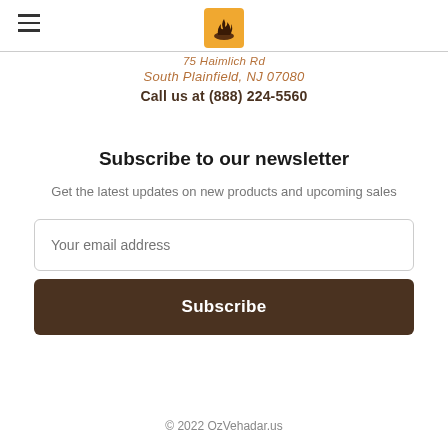[Figure (logo): OzVehadar logo: orange/gold square with stylized flame/crown icon]
75 Haimlich Rd
South Plainfield, NJ 07080
Call us at (888) 224-5560
Subscribe to our newsletter
Get the latest updates on new products and upcoming sales
© 2022 OzVehadar.us